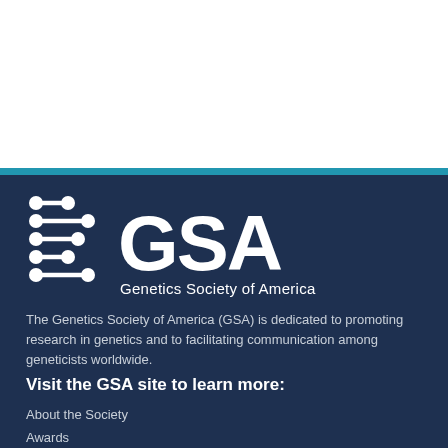[Figure (logo): GSA Genetics Society of America logo with DNA helix icon on dark navy background]
The Genetics Society of America (GSA) is dedicated to promoting research in genetics and to facilitating communication among geneticists worldwide.
Visit the GSA site to learn more:
About the Society
Awards